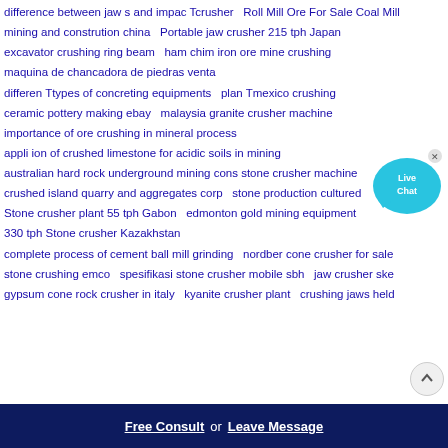difference between jaw s and impac Tcrusher
Roll Mill Ore For Sale Coal Mill
mining and constrution china
Portable jaw crusher 215 tph Japan
excavator crushing ring beam
ham chim iron ore mine crushing
maquina de chancadora de piedras venta
differen Ttypes of concreting equipments
plan Tmexico crushing
ceramic pottery making ebay
malaysia granite crusher machine
importance of ore crushing in mineral process
appli ion of crushed limestone for acidic soils in mining
australian hard rock underground mining cons stone crusher machine
crushed island quarry and aggregates corp
stone production cultured
Stone crusher plant 55 tph Gabon
edmonton gold mining equipment
330 tph Stone crusher Kazakhstan
complete process of cement ball mill grinding
nordber cone crusher for sale
stone crushing emco
spesifikasi stone crusher mobile sbh
jaw crusher ske
gypsum cone rock crusher in italy
kyanite crusher plant
crushing jaws held
[Figure (illustration): Live Chat speech bubble icon in cyan/blue color with 'Live Chat' text and a close X button]
Free Consult or Leave Message